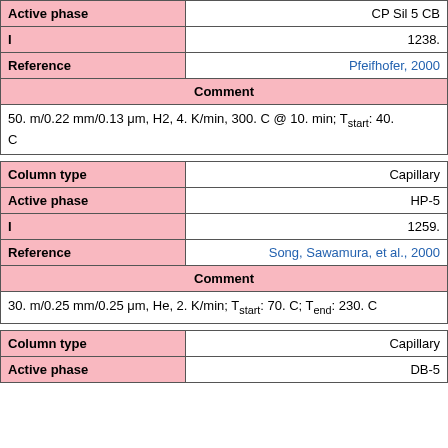| Field | Value |
| --- | --- |
| Active phase | CP Sil 5 CB |
| I | 1238. |
| Reference | Pfeifhofer, 2000 |
| Comment |  |
|  | 50. m/0.22 mm/0.13 μm, H2, 4. K/min, 300. C @ 10. min; Tstart: 40. C |
| Field | Value |
| --- | --- |
| Column type | Capillary |
| Active phase | HP-5 |
| I | 1259. |
| Reference | Song, Sawamura, et al., 2000 |
| Comment |  |
|  | 30. m/0.25 mm/0.25 μm, He, 2. K/min; Tstart: 70. C; Tend: 230. C |
| Field | Value |
| --- | --- |
| Column type | Capillary |
| Active phase | DB-5 |